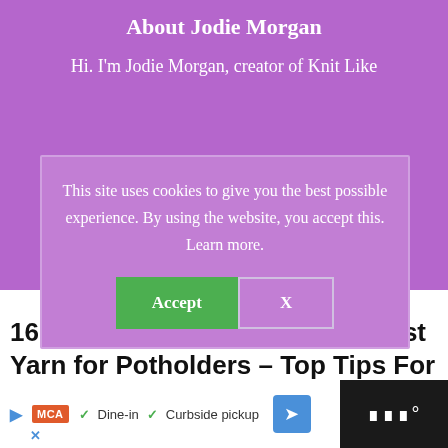About Jodie Morgan
Hi. I'm Jodie Morgan, creator of Knit Like
This site uses cookies to give you the best possible experience. By using the website, you accept this. Learn more.
Accept   X
16 thoughts on “What Is The Best Yarn for Potholders – Top Tips For
[Figure (screenshot): Advertisement bar at the bottom with MCA logo, Dine-in and Curbside pickup checkmarks, blue arrow icon, and app icon on dark background]